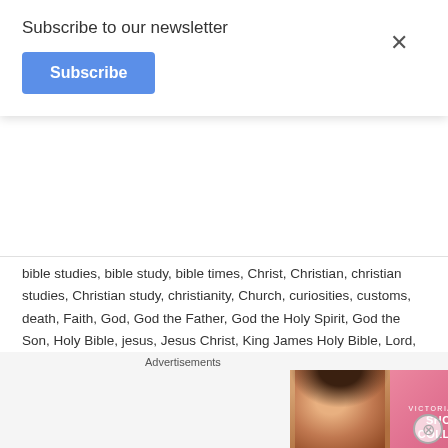Subscribe to our newsletter
Subscribe
bible studies, bible study, bible times, Christ, Christian, christian studies, Christian study, christianity, Church, curiosities, customs, death, Faith, God, God the Father, God the Holy Spirit, God the Son, Holy Bible, jesus, Jesus Christ, King James Holy Bible, Lord, new testament, NIV, Old Testament, preach, preaching, primitive, prophet, Proverbs, sunday, the church, theology, Uncategorized ✉ 1 Peter, 2 peter, appear, ashame, ashamed, busybody, christians, evil, evildoer, Faith, Faithful, faithful Creator, fiery, glorify, glory, Gospel, joy, judge, judgment, Men, murderer, obey, rejoice, righteous, Satan, Scripture, scripture of the day, scriptures, Sin, sinned, sinner, suffering, thief, trial, ungodly, woman
Advertisements
[Figure (photo): Victoria's Secret advertisement banner with a woman's face on the left, VS logo and 'SHOP THE COLLECTION' text in center, and 'SHOP NOW' button on the right, pink background]